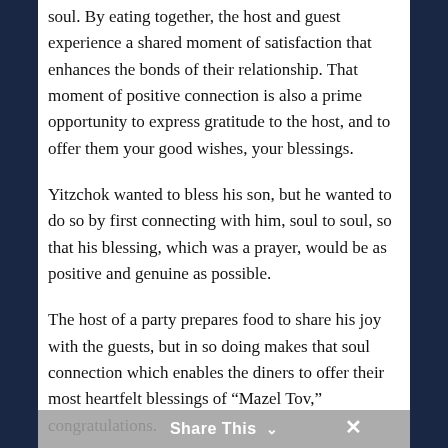soul. By eating together, the host and guest experience a shared moment of satisfaction that enhances the bonds of their relationship. That moment of positive connection is also a prime opportunity to express gratitude to the host, and to offer them your good wishes, your blessings.
Yitzchok wanted to bless his son, but he wanted to do so by first connecting with him, soul to soul, so that his blessing, which was a prayer, would be as positive and genuine as possible.
The host of a party prepares food to share his joy with the guests, but in so doing makes that soul connection which enables the diners to offer their most heartfelt blessings of “Mazel Tov,” congratulations.